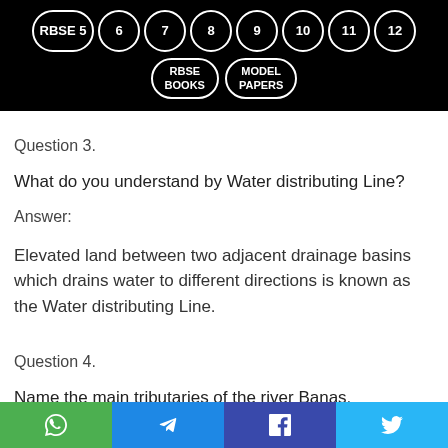RBSE 5  6  7  8  9  10  11  12  RBSE BOOKS  MODEL PAPERS
Question 3.
What do you understand by Water distributing Line?
Answer:
Elevated land between two adjacent drainage basins which drains water to different directions is known as the Water distributing Line.
Question 4.
Name the main tributaries of the river Banas.
Answer:
The tributaries of the river Banas are Kothari, Gambhiri, Khari, and Morel etc.
WhatsApp | Telegram | Facebook | Twitter